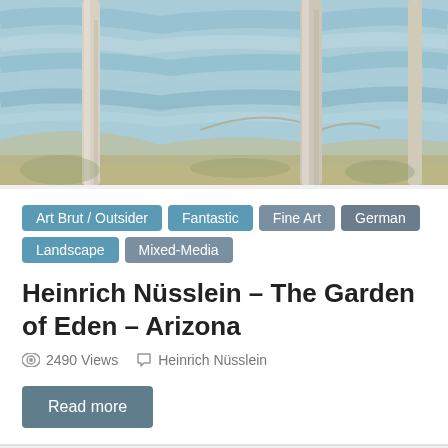[Figure (illustration): Impressionistic painting showing tall tree trunks against a blue sky with textured brushstrokes, with a sandy/mountainous landscape below.]
Art Brut / Outsider
Fantastic
Fine Art
German
Landscape
Mixed-Media
Heinrich Nüsslein – The Garden of Eden – Arizona
2490 Views   Heinrich Nüsslein
Read more
[Figure (illustration): Bottom portion of another impressionistic painting, showing blue/teal swirling brushstrokes.]